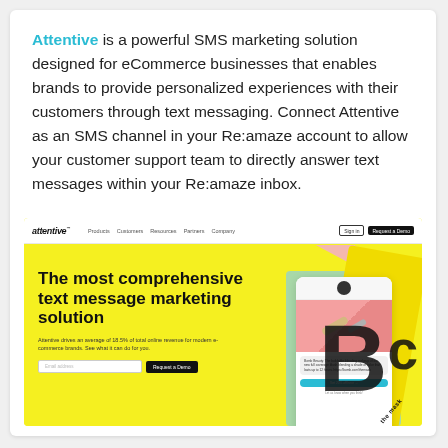Attentive is a powerful SMS marketing solution designed for eCommerce businesses that enables brands to provide personalized experiences with their customers through text messaging. Connect Attentive as an SMS channel in your Re:amaze account to allow your customer support team to directly answer text messages within your Re:amaze inbox.
[Figure (screenshot): Screenshot of Attentive website homepage showing yellow background with headline 'The most comprehensive text message marketing solution', navigation bar, email input field, Request a Demo button, and a phone mockup showing a chat interface with beauty product]